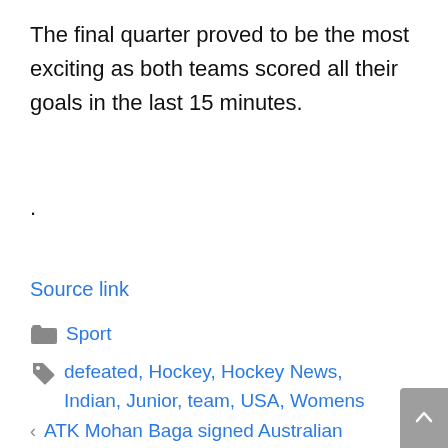The final quarter proved to be the most exciting as both teams scored all their goals in the last 15 minutes.
.
Source link
Sport
defeated, Hockey, Hockey News, Indian, Junior, team, USA, Womens
< ATK Mohan Baga signed Australian